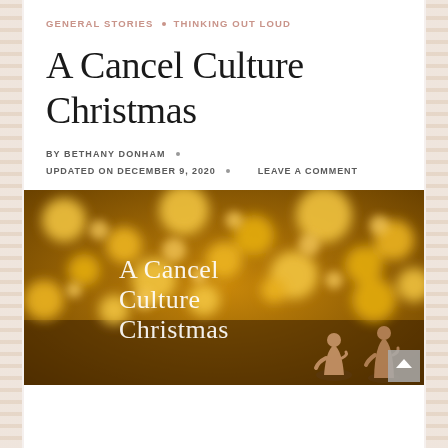GENERAL STORIES • THINKING OUT LOUD
A Cancel Culture Christmas
BY BETHANY DONHAM
UPDATED ON DECEMBER 9, 2020 • LEAVE A COMMENT
[Figure (photo): Blurred golden bokeh background with nativity figurines in the foreground. Text overlay reads 'A Cancel Culture Christmas' in white serif font.]